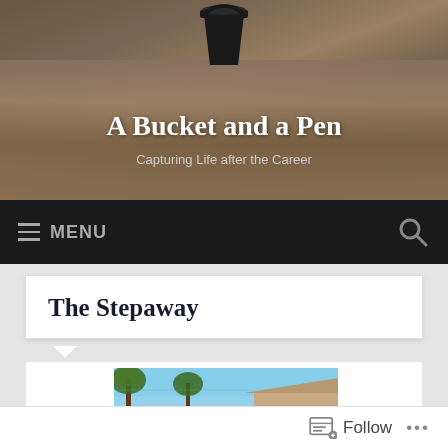[Figure (photo): Website header photograph showing sandy/gravelly ground with a dark bucket icon at the top center, earthy brown tones.]
A Bucket and a Pen
Capturing Life after the Career
MENU
The Stepaway
[Figure (photo): Partial photograph showing palm trees and a building roofline against a blue sky.]
Follow ...